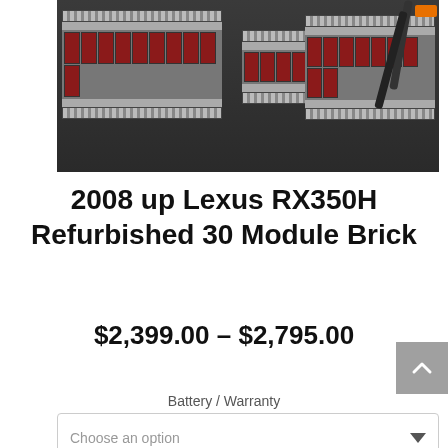[Figure (photo): Photo of three Lexus RX350H hybrid battery module brick units with red battery cells, displayed on a dark surface with cables visible]
2008 up Lexus RX350H Refurbished 30 Module Brick
$2,399.00 – $2,795.00
Battery / Warranty
Choose an option